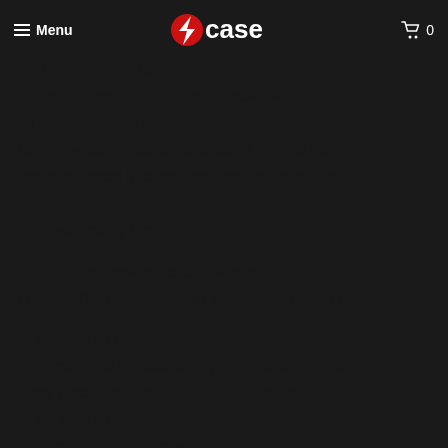Menu | [logo: case] | Cart 0
And yes, I have to, to, to objections
To consumerism, the commercialisation of an ancient religion
To the westernisation of a dead Palestinian
Press-ganged into selling Playstations and beer
But I still really like it
I'm looking forward to Christmas
Though I'm not expecting a visit from Jesus
I'll be seeing my dad
My brother and sisters, my gran and my mum
They'll be drinking white wine in the sun
I'll be seeing my dad
My brother and sisters, my gran and my mum
They'll be drinking white wine in the sun
[...] [1]